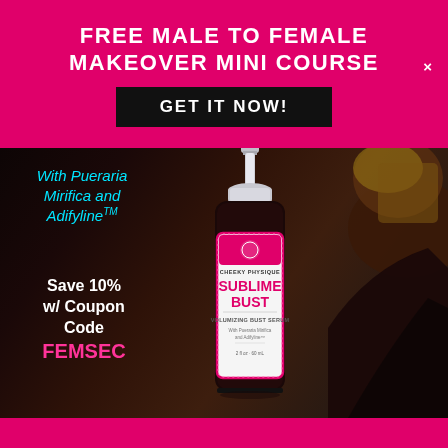FREE MALE TO FEMALE MAKEOVER MINI COURSE
GET IT NOW!
[Figure (photo): Product advertisement showing a dark-background scene with a person in black clothing, and a bottle of Cheeky Physique Sublime Bust Volumizing Bust Serum with pump dispenser, pink label, 2 fl oz / 60 mL]
With Pueraria Mirifica and Adifyline™
Save 10% w/ Coupon Code FEMSEC